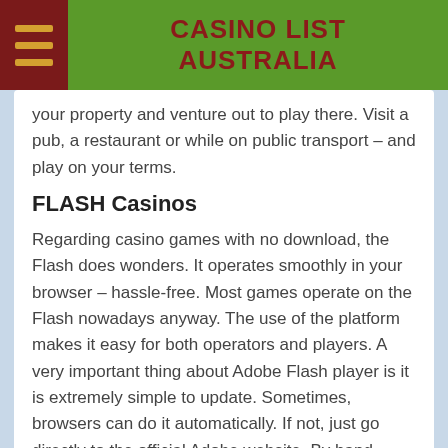CASINO LIST AUSTRALIA
your property and venture out to play there. Visit a pub, a restaurant or while on public transport – and play on your terms.
FLASH Casinos
Regarding casino games with no download, the Flash does wonders. It operates smoothly in your browser – hassle-free. Most games operate on the Flash nowadays anyway. The use of the platform makes it easy for both operators and players. A very important thing about Adobe Flash player is it is extremely simple to update. Sometimes, browsers can do it automatically. If not, just go directly to the official Adobe website. By hand update the program and restart your browser.